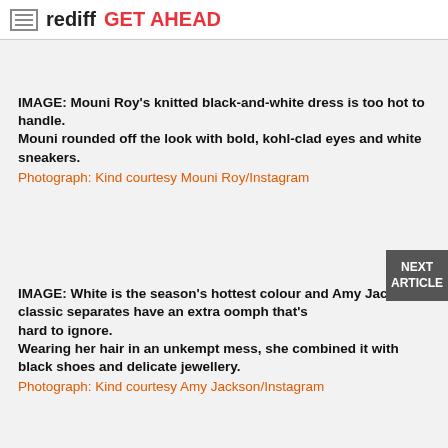rediff GET AHEAD
IMAGE: Mouni Roy's knitted black-and-white dress is too hot to handle.
Mouni rounded off the look with bold, kohl-clad eyes and white sneakers.
Photograph: Kind courtesy Mouni Roy/Instagram
IMAGE: White is the season's hottest colour and Amy Jackson's classic separates have an extra oomph that's hard to ignore.
Wearing her hair in an unkempt mess, she combined it with black shoes and delicate jewellery.
Photograph: Kind courtesy Amy Jackson/Instagram